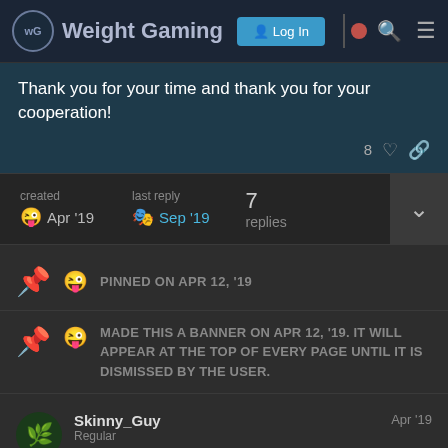Weight Gaming | Log In
Thank you for your time and thank you for your cooperation!
8 ♡
| created | last reply | replies |
| --- | --- | --- |
| Apr '19 | Sep '19 | 7 |
PINNED ON APR 12, '19
MADE THIS A BANNER ON APR 12, '19. IT WILL APPEAR AT THE TOP OF EVERY PAGE UNTIL IT IS DISMISSED BY THE USER.
Skinny_Guy
Regular
Apr '19
That's my bad, sorry 😅